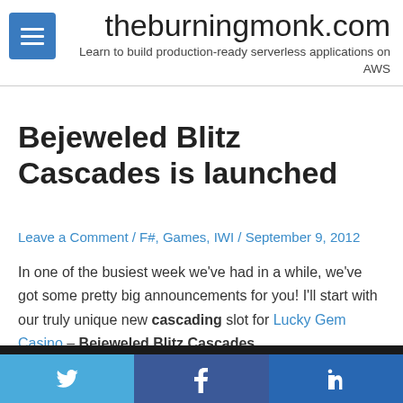theburningmonk.com — Learn to build production-ready serverless applications on AWS
Bejeweled Blitz Cascades is launched
Leave a Comment / F#, Games, IWI / September 9, 2012
In one of the busiest week we've had in a while, we've got some pretty big announcements for you! I'll start with our truly unique new cascading slot for Lucky Gem Casino – Bejeweled Blitz Cascades.
By continuing to use the site, you agree to the use of cookies.